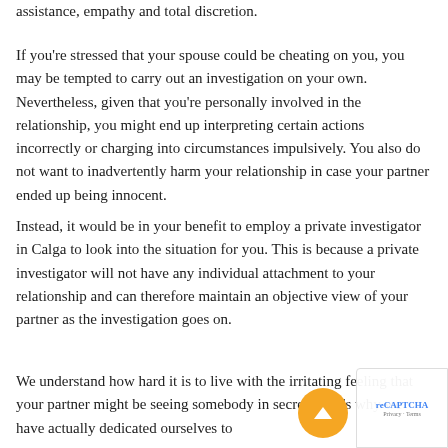assistance, empathy and total discretion.
If you're stressed that your spouse could be cheating on you, you may be tempted to carry out an investigation on your own. Nevertheless, given that you're personally involved in the relationship, you might end up interpreting certain actions incorrectly or charging into circumstances impulsively. You also do not want to inadvertently harm your relationship in case your partner ended up being innocent.
Instead, it would be in your benefit to employ a private investigator in Calga to look into the situation for you. This is because a private investigator will not have any individual attachment to your relationship and can therefore maintain an objective view of your partner as the investigation goes on.
We understand how hard it is to live with the irritating feeling that your partner might be seeing somebody in secret. That's why we have actually dedicated ourselves to